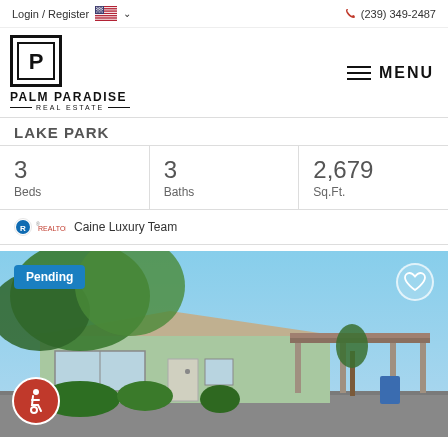Login / Register  (239) 349-2487
[Figure (logo): Palm Paradise Real Estate logo with stylized P icon and text]
MENU
LAKE PARK
| Beds | Baths | Sq.Ft. |
| --- | --- | --- |
| 3 | 3 | 2,679 |
Caine Luxury Team
[Figure (photo): Exterior photo of a single-story home with carport, light green/blue walls, with trees overhead. Pending badge in top left, heart icon top right, wheelchair accessibility icon bottom left.]